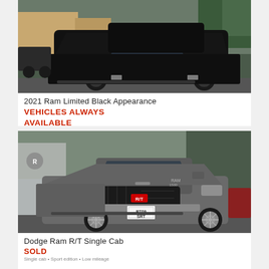[Figure (photo): Black 2021 Ram Limited truck photographed from front-left angle in a dealership parking area]
2021 Ram Limited Black Appearance
VEHICLES ALWAYS AVAILABLE
Darkish body colour, licence plate info
[Figure (photo): Grey Dodge Ram R/T Single Cab truck photographed from front-left angle in a dealership parking area, plate RT09 SRT]
Dodge Ram R/T Single Cab
SOLD
Additional dealership/vehicle info